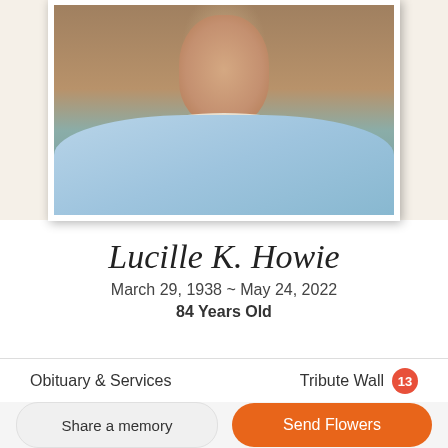[Figure (photo): Portrait photo of Lucille K. Howie, an elderly woman wearing a light blue embroidered shirt, shell necklace, and teal pendant/sunglasses, shown from neck up]
Lucille K. Howie
March 29, 1938 ~ May 24, 2022
84 Years Old
Obituary & Services
Tribute Wall 13
Share a memory
Send Flowers